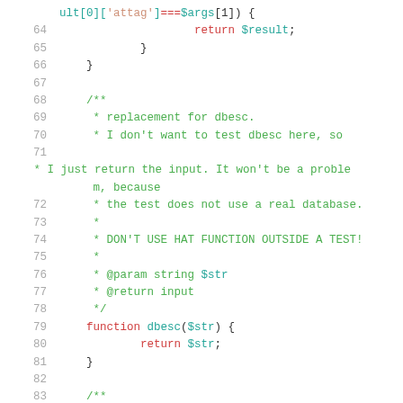Code snippet showing PHP source lines 64–84 with syntax highlighting
ult[0]['attag']===$args[1]) {
64    return $result;
65    }
66  }
67
68  /**
69   * replacement for dbesc.
70   * I don't want to test dbesc here, so
71   * I just return the input. It won't be a problem, because
72   * the test does not use a real database.
73   *
74   * DON'T USE HAT FUNCTION OUTSIDE A TEST!
75   *
76   * @param string $str
77   * @return input
78   */
79  function dbesc($str) {
80        return $str;
81  }
82
83  /**
84   * TestCase for tag handling.